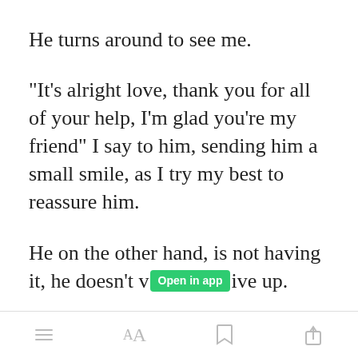He turns around to see me.
"It's alright love, thank you for all of your help, I'm glad you're my friend" I say to him, sending him a small smile, as I try my best to reassure him.
He on the other hand, is not having it, he doesn't w[Open in app]ive up.
[Figure (screenshot): App bottom toolbar with menu, font size, bookmark, and share icons]